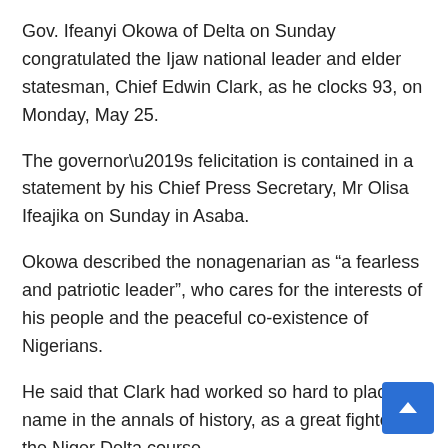Gov. Ifeanyi Okowa of Delta on Sunday congratulated the Ijaw national leader and elder statesman, Chief Edwin Clark, as he clocks 93, on Monday, May 25.
The governor’s felicitation is contained in a statement by his Chief Press Secretary, Mr Olisa Ifeajika on Sunday in Asaba.
Okowa described the nonagenarian as “a fearless and patriotic leader”, who cares for the interests of his people and the peaceful co-existence of Nigerians.
He said that Clark had worked so hard to place his name in the annals of history, as a great fighter of the Niger Delta course.